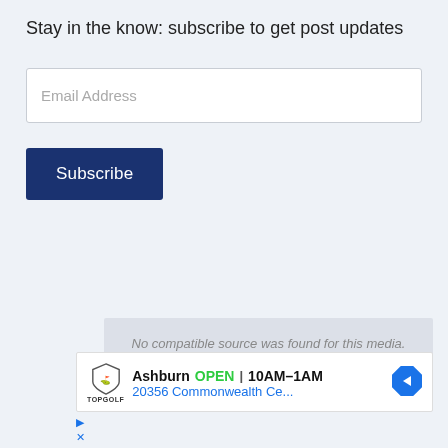Stay in the know: subscribe to get post updates
Email Address
Subscribe
[Figure (screenshot): Video player overlay showing 'No compatible source was found for this media.' error message]
[Figure (screenshot): Advertisement for Topgolf Ashburn showing OPEN 10AM-1AM and address 20356 Commonwealth Ce... with navigation arrow icon]